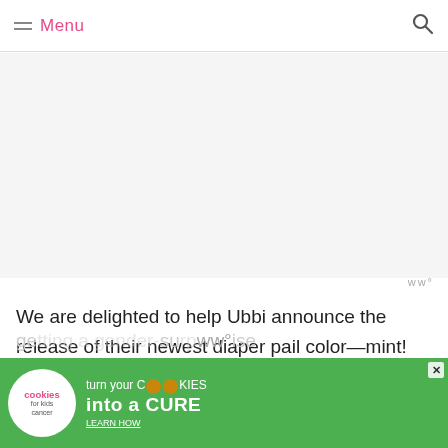Menu
[Figure (other): White blank advertisement placeholder area]
ww°
We are delighted to help Ubbi announce the release of their newest diaper pail color—mint! We've been seeing this fun shade of green span the spectrum of baby rooms—it works for baby boys and baby girls, which also makes it perfect for ge...su...ise
[Figure (other): Green advertisement banner: cookies for kids cancer — turn your COOKIES into a CURE LEARN HOW]